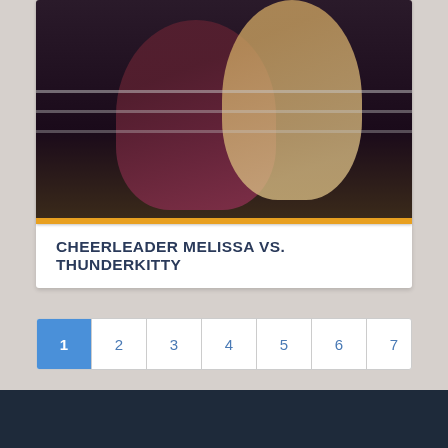[Figure (photo): Wrestling match photo showing two female wrestlers in a ring — one in dark red/maroon outfit, another in leopard print costume. Orange/gold bar at bottom of image.]
CHEERLEADER MELISSA VS. THUNDERKITTY
Pagination: 1 (active), 2, 3, 4, 5, 6, 7, 8, 9, next ›, last »
There are 313 matches on 10 pages in this channel.